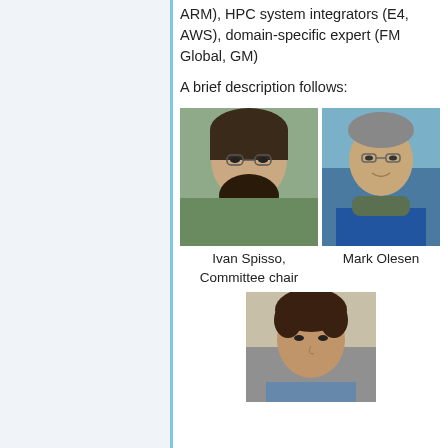ARM), HPC system integrators (E4, AWS), domain-specific expert (FM Global, GM)
A brief description follows:
[Figure (photo): Photo of Ivan Spisso, Committee chair — man with beard and glasses]
Ivan Spisso, Committee chair
[Figure (photo): Photo of Mark Olesen — man smiling outdoors]
Mark Olesen
[Figure (photo): Photo of a third person with curly hair, partially visible]